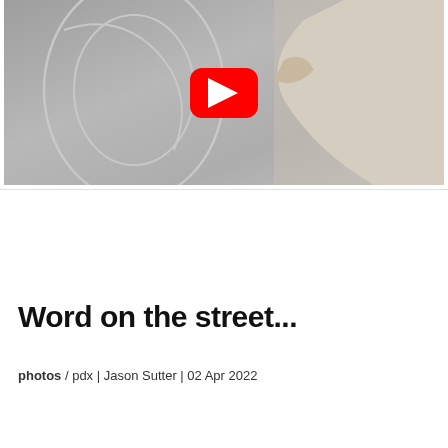[Figure (screenshot): YouTube video thumbnail showing a person in a beige/cream long-sleeve top pressing their arm against a textured grey concrete wall with circular line drawings on it. A red YouTube play button is overlaid in the center.]
Word on the street...
photos / pdx | Jason Sutter | 02 Apr 2022